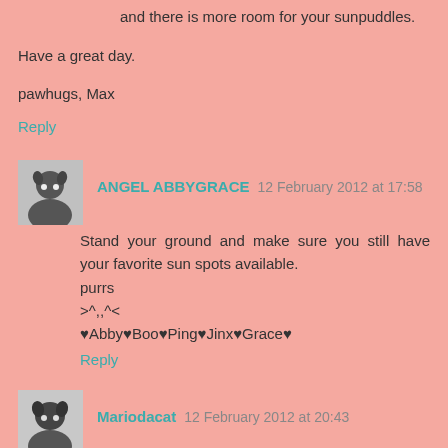and there is more room for your sunpuddles.
Have a great day.
pawhugs, Max
Reply
ANGEL ABBYGRACE 12 February 2012 at 17:58
Stand your ground and make sure you still have your favorite sun spots available.
purrs
>^,,^<
♥Abby♥Boo♥Ping♥Jinx♥Grace♥
Reply
Mariodacat 12 February 2012 at 20:43
Gasp - you must not let mom get away with that. Next thing you know the chairs will go to make room for even more